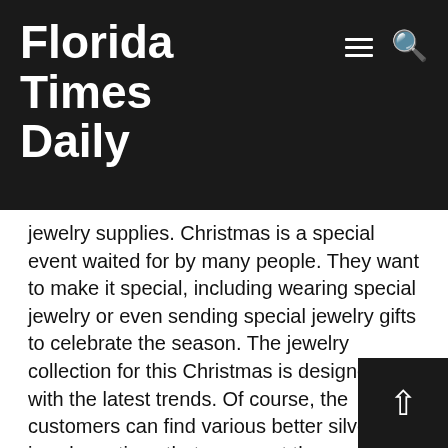Florida Times Daily
jewelry supplies. Christmas is a special event waited for by many people. They want to make it special, including wearing special jewelry or even sending special jewelry gifts to celebrate the season. The jewelry collection for this Christmas is designed with the latest trends. Of course, the customers can find various better silver jewelry options that can meet the current Christmas vibe they want to express. The silver jewelry from the company can make their Christmas more special with its special design.
We Silver Jewels is loyal to offer silver jewelry collections studded with gemstones. Silver jewelry